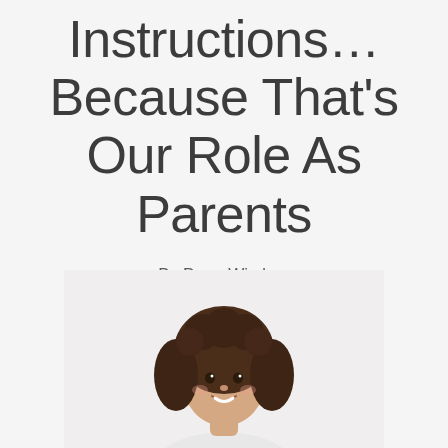Instructions… Because That's Our Role As Parents
By Dean Wisdom
November 14, 2012
[Figure (photo): A young girl with curly dark hair, smiling, photographed from the shoulders up against a light background.]